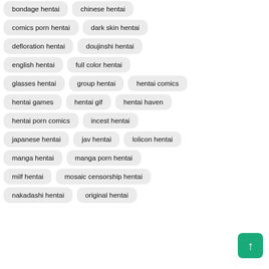bondage hentai
chinese hentai
comics porn hentai
dark skin hentai
defloration hentai
doujinshi hentai
english hentai
full color hentai
glasses hentai
group hentai
hentai comics
hentai games
hentai gif
hentai haven
hentai porn comics
incest hentai
japanese hentai
jav hentai
lolicon hentai
manga hentai
manga porn hentai
milf hentai
mosaic censorship hentai
nakadashi hentai
original hentai